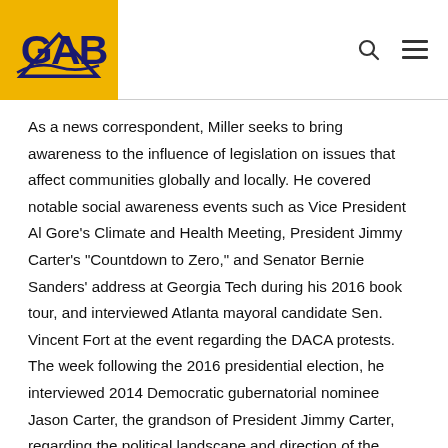GAB logo and navigation
As a news correspondent, Miller seeks to bring awareness to the influence of legislation on issues that affect communities globally and locally. He covered notable social awareness events such as Vice President Al Gore's Climate and Health Meeting, President Jimmy Carter's “Countdown to Zero,” and Senator Bernie Sanders’ address at Georgia Tech during his 2016 book tour, and interviewed Atlanta mayoral candidate Sen. Vincent Fort at the event regarding the DACA protests. The week following the 2016 presidential election, he interviewed 2014 Democratic gubernatorial nominee Jason Carter, the grandson of President Jimmy Carter, regarding the political landscape and direction of the nation. Miller intends to have people think and dig deeper through